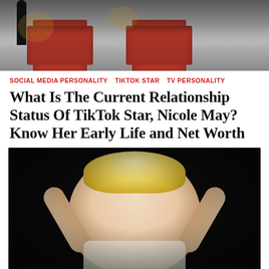[Figure (photo): Top photo showing two people seated in ornate red chairs, likely a gondola or decorated carriage, with decorative black woodwork visible.]
SOCIAL MEDIA PERSONALITY   TIKTOK STAR   TV PERSONALITY
What Is The Current Relationship Status Of TikTok Star, Nicole May? Know Her Early Life and Net Worth
[Figure (photo): Portrait photo of a blonde woman with her arms raised above her head, wearing a white top, against a dark background.]